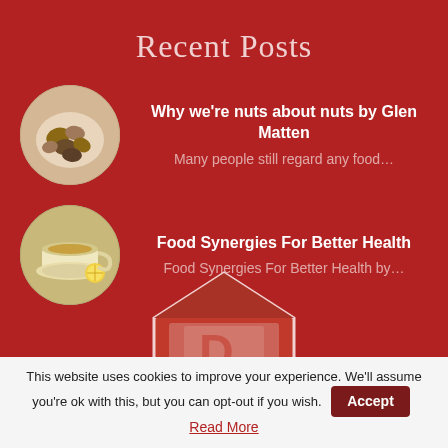Recent Posts
[Figure (photo): Circular thumbnail image of mixed nuts on a plate]
Why we're nuts about nuts by Glen Matten
Many people still regard any food…
[Figure (photo): Circular thumbnail image of a cup of herbal tea with lemon]
Food Synergies For Better Health
Food Synergies For Better Health by…
[Figure (logo): Partial red house/barn logo with letters visible at bottom of page]
This website uses cookies to improve your experience. We'll assume you're ok with this, but you can opt-out if you wish. Accept Read More